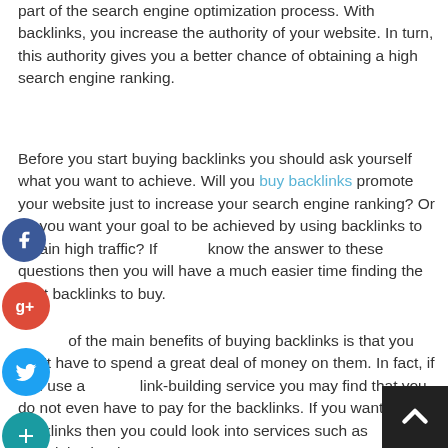part of the search engine optimization process. With backlinks, you increase the authority of your website. In turn, this authority gives you a better chance of obtaining a high search engine ranking.
Before you start buying backlinks you should ask yourself what you want to achieve. Will you buy backlinks promote your website just to increase your search engine ranking? Or do you want your goal to be achieved by using backlinks to obtain high traffic? If know the answer to these questions then you will have a much easier time finding the right backlinks to buy.
One of the main benefits of buying backlinks is that you don't have to spend a great deal of money on them. In fact, if you use a link-building service you may find that you do not even have to pay for the backlinks. If you want to buy backlinks then you could look into services such as TextLinkAds where backlinks at a cheap price. However, you should make sure that
[Figure (infographic): Social sharing icons on left side: Facebook (blue circle with f), Google+ (red circle with g+), Twitter (blue circle with bird), Add/share (teal circle with +). Back-to-top button in bottom-right corner (dark square with white upward chevron).]